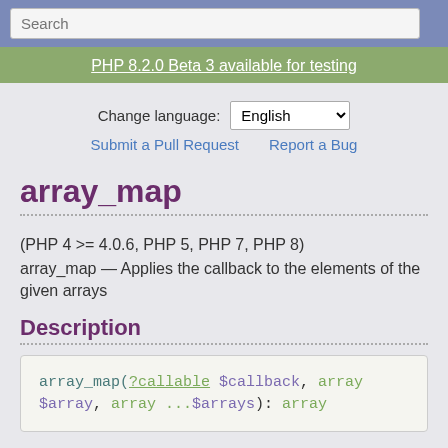Search
PHP 8.2.0 Beta 3 available for testing
Change language: English
Submit a Pull Request   Report a Bug
array_map
(PHP 4 >= 4.0.6, PHP 5, PHP 7, PHP 8)
array_map — Applies the callback to the elements of the given arrays
Description
array_map(?callable $callback, array $array, array ...$arrays): array